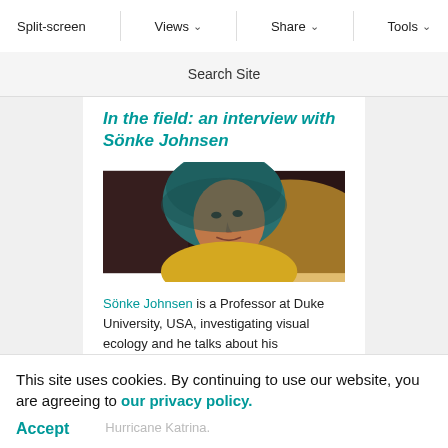Split-screen  Views  Share  Tools
Search Site
In the field: an interview with Sönke Johnsen
[Figure (photo): Portrait photo of Sönke Johnsen wearing a blue hood and yellow jacket, photographed outdoors]
Sönke Johnsen is a Professor at Duke University, USA, investigating visual ecology and he talks about his experiences of collecting transparent
Hurricane Katrina.
This site uses cookies. By continuing to use our website, you are agreeing to our privacy policy. Accept